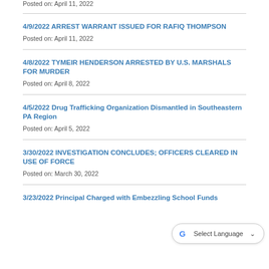Posted on: April 11, 2022
4/9/2022 ARREST WARRANT ISSUED FOR RAFIQ THOMPSON
Posted on: April 11, 2022
4/8/2022 TYMEIR HENDERSON ARRESTED BY U.S. MARSHALS FOR MURDER
Posted on: April 8, 2022
4/5/2022 Drug Trafficking Organization Dismantled in Southeastern PA Region
Posted on: April 5, 2022
3/30/2022 INVESTIGATION CONCLUDES; OFFICERS CLEARED IN USE OF FORCE
Posted on: March 30, 2022
3/23/2022 Principal Charged with Embezzling School Funds